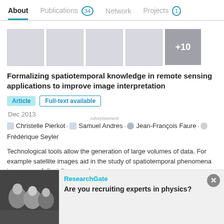About | Publications 34 | Network | Projects 1
[Figure (illustration): Strip of 5 image thumbnails (4 light gray placeholders and 1 darker gray with '+10' text overlay)]
Formalizing spatiotemporal knowledge in remote sensing applications to improve image interpretation
Article | Full-text available
Dec 2013
Christelle Pierkot · Samuel Andres · Jean-François Faure · Frédérique Seyler
Technological tools allow the generation of large volumes of data. For example satellite images aid in the study of spatiotemporal phenomena in a range of disciplines, such as
[Figure (screenshot): Advertisement overlay: ResearchGate ad with photo of scientists and text 'Are you recruiting experts in physics?']